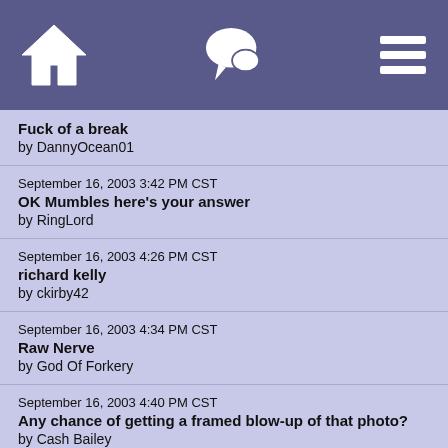[Figure (other): Navigation bar with home icon, chat/speech bubble icon, and hamburger menu icon on purple background]
Fuck of a break
by DannyOcean01
September 16, 2003 3:42 PM CST
OK Mumbles here's your answer
by RingLord
September 16, 2003 4:26 PM CST
richard kelly
by ckirby42
September 16, 2003 4:34 PM CST
Raw Nerve
by God Of Forkery
September 16, 2003 4:40 PM CST
Any chance of getting a framed blow-up of that photo?
by Cash Bailey
September 16, 2003 4:50 PM CST
Clever Photoshopping, Your ruse seems plausible
by JAGUART